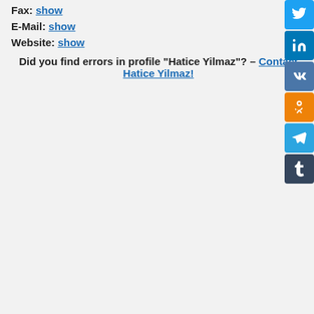Fax: show
E-Mail: show
Website: show
Did you find errors in profile "Hatice Yilmaz"? – Contact Hatice Yilmaz!
[Figure (infographic): Social media sharing buttons: Twitter, LinkedIn, VK, Odnoklassniki, Telegram, Tumblr]